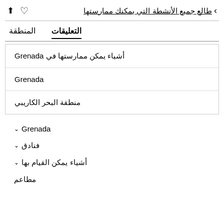> طالع جميع الأنشطة التي يمكنك ممارستها
المنطقة    التعليقات
أشياء يمكن ممارستها في Grenada
Grenada
منطقة البحر الكاريبي
Grenada ∨
فنادق ∨
أشياء يمكن القيام بها ∨
مطاعم